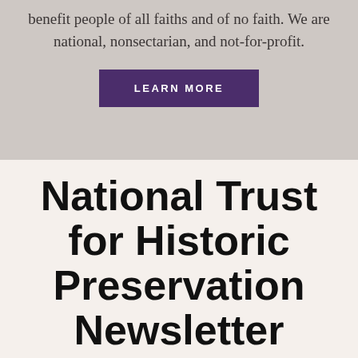benefit people of all faiths and of no faith. We are national, nonsectarian, and not-for-profit.
LEARN MORE
National Trust for Historic Preservation Newsletter